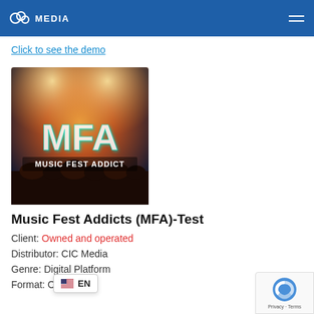CIC MEDIA
Click to see the demo
[Figure (photo): Music Fest Addict (MFA) logo/poster image showing a concert crowd with stage lights and the text 'MFA MUSIC FEST ADDICT' in large glowing letters]
Music Fest Addicts (MFA)-Test
Client: Owned and operated
Distributor: CIC Media
Genre: Digital Platform
Format: Online